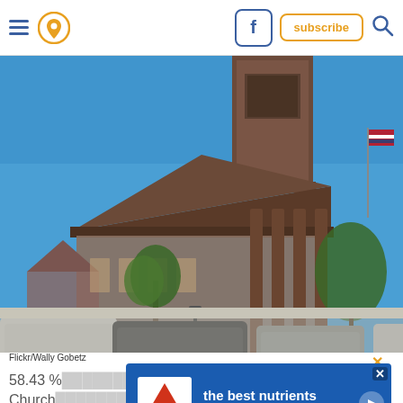Navigation bar with hamburger menu, location pin, facebook button, subscribe button, search icon
[Figure (photo): Exterior photo of a historic church building with Greek Revival architecture, brown stone facade, columned portico, and a square bell tower. Blue sky background with trees and parked cars visible. Photo credit: Flickr/Wally Gobetz]
Flickr/Wally Gobetz
58.43 % ... en Church ... e to the oldest congregation in New Jersey.
[Figure (screenshot): Advertisement overlay: Hill's pet nutrition ad with text 'the best nutrients for their best life' on blue background with Hill's logo]